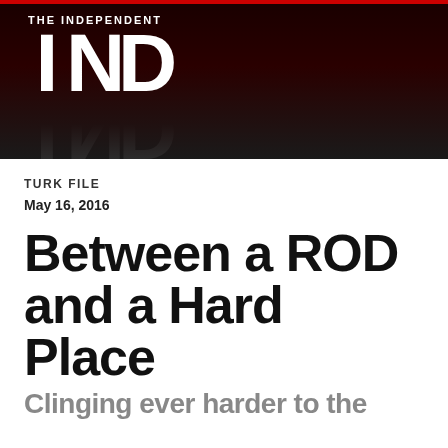[Figure (logo): The Independent newspaper logo with large bold IND letters on dark background with red top border stripe]
TURK FILE
May 16, 2016
Between a ROD and a Hard Place
Clinging ever harder to the